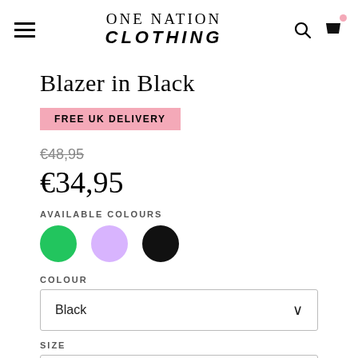ONE NATION CLOTHING
Blazer in Black
FREE UK DELIVERY
€48,95 (strikethrough)
€34,95
AVAILABLE COLOURS
COLOUR
Black
SIZE
UK12